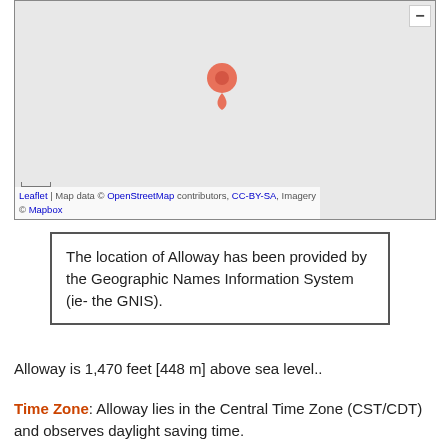[Figure (map): A Leaflet/Mapbox/OpenStreetMap map tile showing a gray background with a red map pin marker in the center area. A zoom-out button (minus sign) is visible in the top-right corner.]
Leaflet | Map data © OpenStreetMap contributors, CC-BY-SA, Imagery © Mapbox
The location of Alloway has been provided by the Geographic Names Information System (ie- the GNIS).
Alloway is 1,470 feet [448 m] above sea level..
Time Zone: Alloway lies in the Central Time Zone (CST/CDT) and observes daylight saving time.